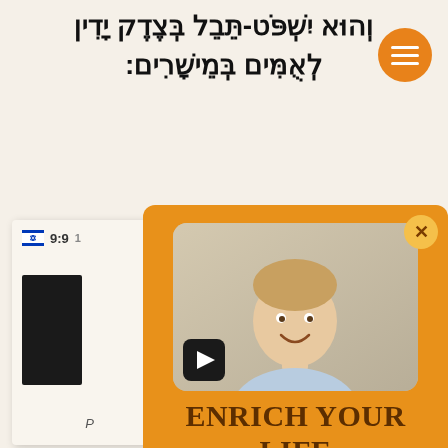וְהוּא יִשְׁפֹּט-תֵּבֵל בְּצֶדֶק יָדִין לְאֻמִּים בְּמֵישָׁרִים:
[Figure (screenshot): Mobile app screenshot showing Israel flag icon and reference 9:9, with a dark panel showing Hebrew scripture text]
[Figure (photo): Orange popup panel with a video thumbnail showing a smiling man in a blue shirt with Hebrew text background, a play button, text 'ENRICH YOUR LIFE WITH ISRAEL AND THE BIBLE', and a 'JOIN THE TRIBE' button]